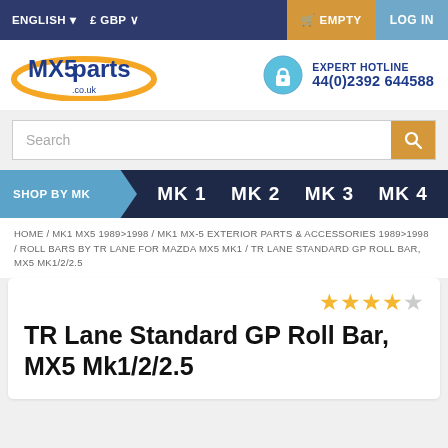ENGLISH | £ GBP | EMPTY | LOG IN
[Figure (logo): MX5parts.co.uk logo with orange oval and blue text, plus Expert Hotline 44(0)2392 644588]
Search
SHOP BY MK | MK 1 | MK 2 | MK 3 | MK 4
HOME / MK1 MX5 1989>1998 / MK1 MX-5 EXTERIOR PARTS & ACCESSORIES 1989>1998 / ROLL BARS BY TR LANE FOR MAZDA MX5 MK1 / TR LANE STANDARD GP ROLL BAR, MX5 MK1/2/2.5
TR Lane Standard GP Roll Bar, MX5 Mk1/2/2.5